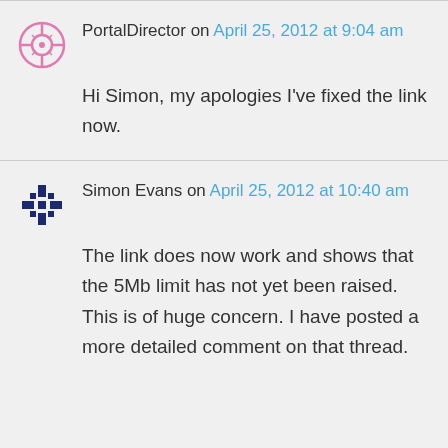PortalDirector on April 25, 2012 at 9:04 am
Hi Simon, my apologies I've fixed the link now.
Simon Evans on April 25, 2012 at 10:40 am
The link does now work and shows that the 5Mb limit has not yet been raised. This is of huge concern. I have posted a more detailed comment on that thread.